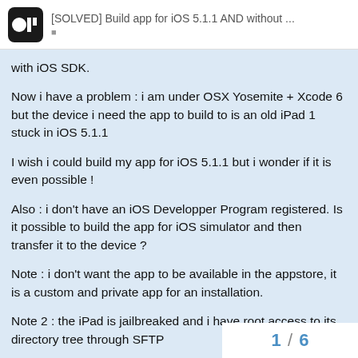[SOLVED] Build app for iOS 5.1.1 AND without ...
with iOS SDK.
Now i have a problem : i am under OSX Yosemite + Xcode 6 but the device i need the app to build to is an old iPad 1 stuck in iOS 5.1.1
I wish i could build my app for iOS 5.1.1 but i wonder if it is even possible !
Also : i don't have an iOS Developper Program registered. Is it possible to build the app for iOS simulator and then transfer it to the device ?
Note : i don't want the app to be available in the appstore, it is a custom and private app for an installation.
Note 2 : the iPad is jailbreaked and i have root access to its directory tree through SFTP
thanks a lot
1 / 6